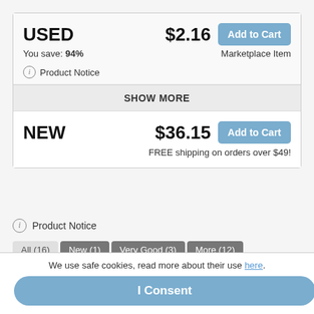USED   $2.16   Add to Cart
You save: 94%   Marketplace Item
(i) Product Notice
SHOW MORE
NEW   $36.15   Add to Cart
FREE shipping on orders over $49!
(i) Product Notice
All (16)   New (1)   Very Good (3)   More (12)
Seller:
Midtown Scholar Bookstore   ★★★★★
We use safe cookies, read more about their use here.
I Consent